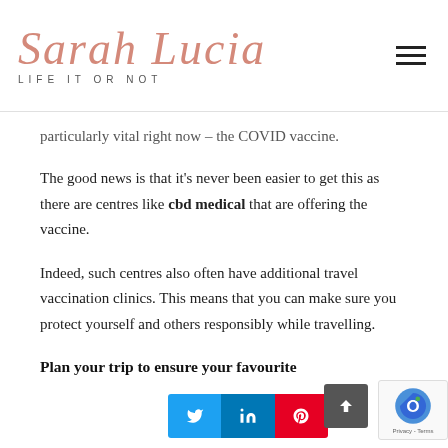Sarah Lucia LIFE IT OR NOT
particularly vital right now – the COVID vaccine.
The good news is that it's never been easier to get this as there are centres like cbd medical that are offering the vaccine.
Indeed, such centres also often have additional travel vaccination clinics. This means that you can make sure you protect yourself and others responsibly while travelling.
Plan your trip to ensure your favourite